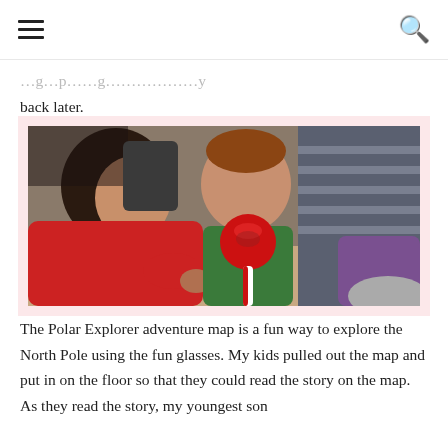☰  🔍
back later.
[Figure (photo): Two children on a floor; one in a red hoodie leans toward a baby/toddler in a green outfit who is sucking on a large red candy apple on a candy-cane stick. Other adults/people visible in background.]
The Polar Explorer adventure map is a fun way to explore the North Pole using the fun glasses. My kids pulled out the map and put in on the floor so that they could read the story on the map. As they read the story, my youngest son